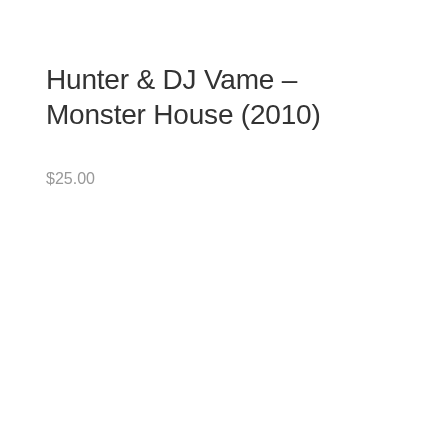Hunter & DJ Vame – Monster House (2010)
$25.00